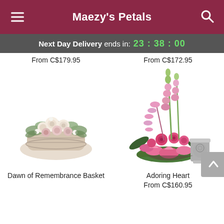Maezy's Petals
Next Day Delivery ends in: 23:38:00
From C$179.95
From C$172.95
[Figure (photo): Dawn of Remembrance Basket - a white wicker basket arrangement with cream and pale pink roses and mixed white flowers]
[Figure (photo): Adoring Heart - a tall pink floral arrangement with gladioli, pink lilies, roses and orchids next to a silver urn]
Dawn of Remembrance Basket
Adoring Heart
From C$160.95